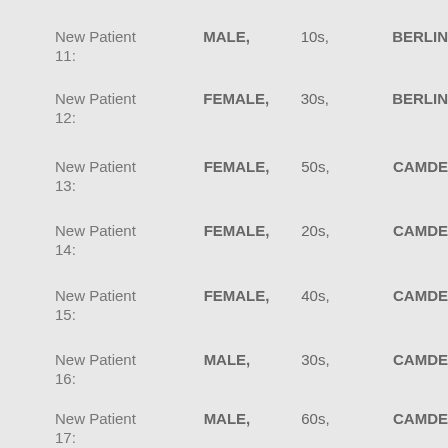New Patient 11: MALE, 10s, BERLIN
New Patient 12: FEMALE, 30s, BERLIN
New Patient 13: FEMALE, 50s, CAMDEN
New Patient 14: FEMALE, 20s, CAMDEN
New Patient 15: FEMALE, 40s, CAMDEN
New Patient 16: MALE, 30s, CAMDEN
New Patient 17: MALE, 60s, CAMDEN